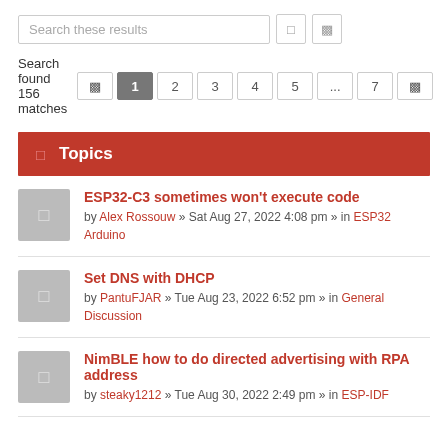Search these results
Search found 156 matches  1  2  3  4  5  ...  7
Topics
ESP32-C3 sometimes won't execute code
by Alex Rossouw » Sat Aug 27, 2022 4:08 pm » in ESP32 Arduino
Set DNS with DHCP
by PantuFJAR » Tue Aug 23, 2022 6:52 pm » in General Discussion
NimBLE how to do directed advertising with RPA address
by steaky1212 » Tue Aug 30, 2022 2:49 pm » in ESP-IDF